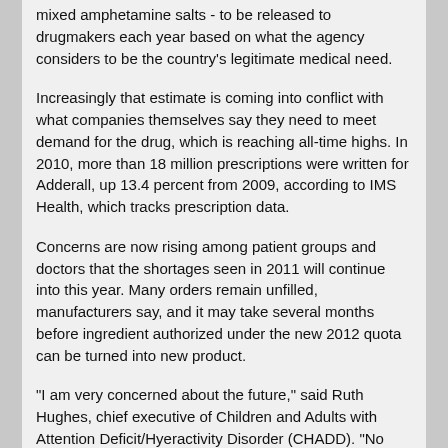mixed amphetamine salts - to be released to drugmakers each year based on what the agency considers to be the country's legitimate medical need.
Increasingly that estimate is coming into conflict with what companies themselves say they need to meet demand for the drug, which is reaching all-time highs. In 2010, more than 18 million prescriptions were written for Adderall, up 13.4 percent from 2009, according to IMS Health, which tracks prescription data.
Concerns are now rising among patient groups and doctors that the shortages seen in 2011 will continue into this year. Many orders remain unfilled, manufacturers say, and it may take several months before ingredient authorized under the new 2012 quota can be turned into new product.
"I am very concerned about the future," said Ruth Hughes, chief executive of Children and Adults with Attention Deficit/Hyeractivity Disorder (CHADD). "No one seems to have much inventory to get us through the months ahead."
ADHD is one of the most common childhood disorders. An average of 9 percent of children between the ages of five and